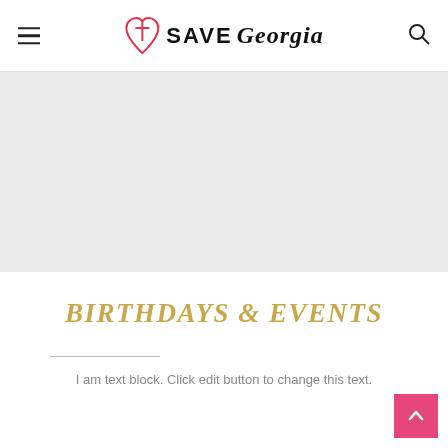SAVE Georgia
[Figure (illustration): Gray banner/placeholder image area]
BIRTHDAYS & EVENTS
I am text block. Click edit button to change this text.